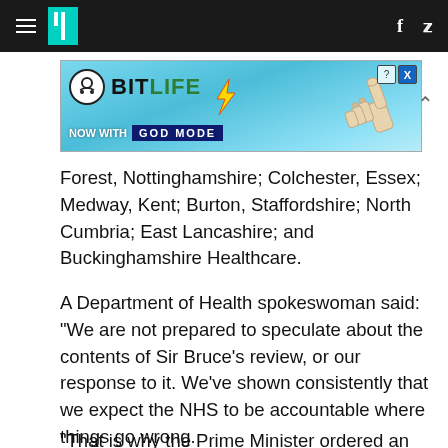HuffPost navigation with hamburger menu, logo, Facebook and Twitter icons
[Figure (screenshot): BitLife advertisement banner: 'NOW WITH GOD MODE' on a light blue background with a pointing hand graphic]
Forest, Nottinghamshire; Colchester, Essex; Medway, Kent; Burton, Staffordshire; North Cumbria; East Lancashire; and Buckinghamshire Healthcare.
A Department of Health spokeswoman said: "We are not prepared to speculate about the contents of Sir Bruce's review, or our response to it. We've shown consistently that we expect the NHS to be accountable where things go wrong.
"That is why the Prime Minister ordered an